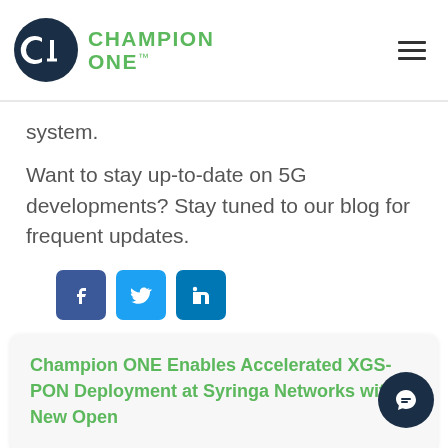[Figure (logo): Champion ONE logo with dark navy circular C1 icon and green CHAMPION ONE text]
system.
Want to stay up-to-date on 5G developments? Stay tuned to our blog for frequent updates.
[Figure (other): Social media share icons: Facebook, Twitter, LinkedIn]
Champion ONE Enables Accelerated XGS-PON Deployment at Syringa Networks with New Open